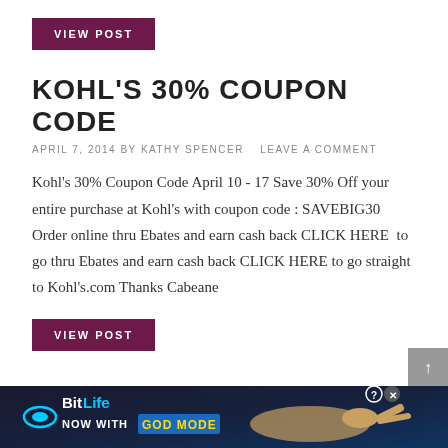VIEW POST
KOHL'S 30% COUPON CODE
APRIL 7, 2014 BY KATHY SPENCER   LEAVE A COMMENT
Kohl's 30% Coupon Code April 10 - 17 Save 30% Off your entire purchase at Kohl's with coupon code : SAVEBIG30 Order online thru Ebates and earn cash back CLICK HERE  to go thru Ebates and earn cash back CLICK HERE to go straight to Kohl's.com Thanks Cabeane
VIEW POST
[Figure (illustration): BitLife advertisement banner with 'NOW WITH GOD MODE' text and animated hand graphic]